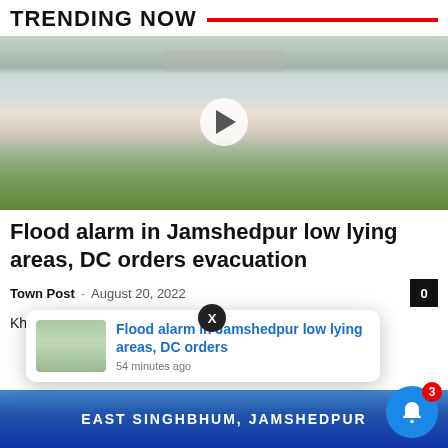TRENDING NOW
[Figure (photo): Flood scene showing a swollen river with muddy water and green vegetation on the banks, with a video play button overlay]
Flood alarm in Jamshedpur low lying areas, DC orders evacuation
Town Post · August 20, 2022
Kharkai 6.6 m above danger mark. Subarnarekha 2.5 m township are in
[Figure (screenshot): Notification popup showing 'Flood alarm in Jamshedpur low lying areas, DC orders' with thumbnail of flood image and '54 minutes ago']
[Figure (photo): Bottom strip showing EAST SINGHBHUM, JAMSHEDPUR text on blue background]